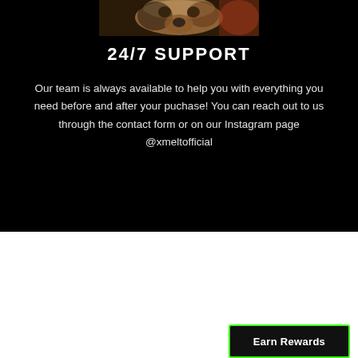[Figure (photo): Partial view of an animal (appears to be a dog or similar pet) visible at the top of the black section]
24/7 SUPPORT
Our team is always available to help you with everything you need before and after your puchase! You can reach out to us through the contact form or on our Instagram page @xmeltofficial
[Figure (screenshot): Navigation bar with hamburger menu icon and MENU text on black background, with Earn Rewards button outlined in green in the bottom right corner]